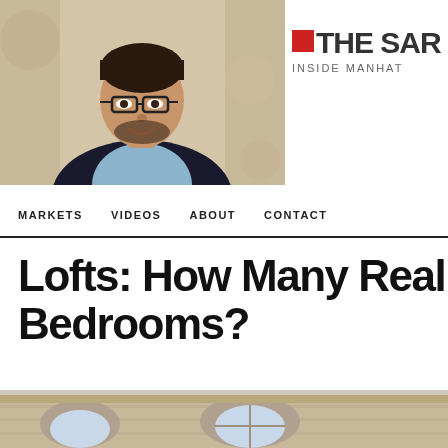[Figure (photo): Portrait photo of a man with glasses and dark beard wearing a dark blazer and light blue shirt, smiling, blurred background]
[Figure (logo): Logo reading THE SAR with red square icon and tagline INSIDE MANHAT]
MARKETS   VIDEOS   ABOUT   CONTACT
Lofts: How Many Real Bedrooms?
[Figure (photo): Exterior photo of a brick building with arched windows]